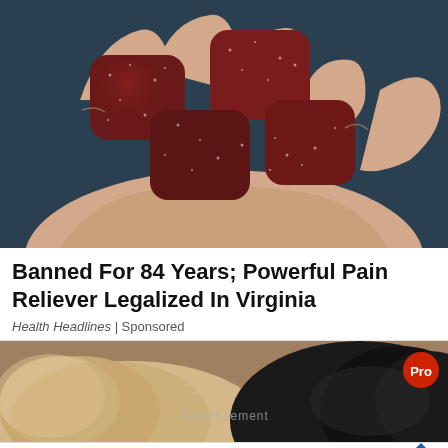[Figure (photo): A hand holding several dark red sugary gummy candies/gummies with sparkling sugar coating, close-up photo against a dark background.]
Banned For 84 Years; Powerful Pain Reliever Legalized In Virginia
Health Headlines | Sponsored
[Figure (photo): Two dogs lying together, one light tan/golden colored and one dark black, sleeping or resting. A red circular Pro badge is visible in the top right. An advertisement bar overlays the bottom showing Dairy Queen DQ logo with text: Takeout, Delivery and a blue diamond arrow button. A small advertisement watermark is visible in the center.]